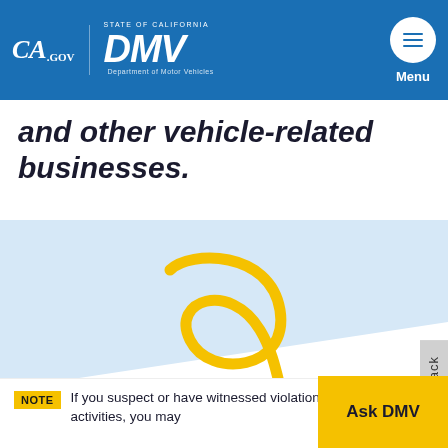CA.gov | STATE OF CALIFORNIA DMV Department of Motor Vehicles | Menu
and other vehicle-related businesses.
[Figure (illustration): Decorative yellow hand-drawn swirling arrow illustration pointing downward-right]
Feedback
NOTE If you suspect or have witnessed violations or unlawful activities, you may
Ask DMV